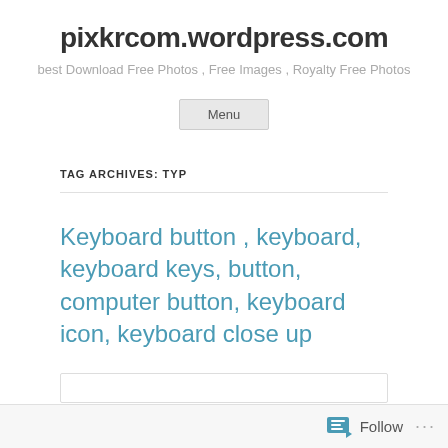pixkrcom.wordpress.com
best Download Free Photos , Free Images , Royalty Free Photos
Menu
TAG ARCHIVES: TYP
Keyboard button , keyboard, keyboard keys, button, computer button, keyboard icon, keyboard close up
Follow ...